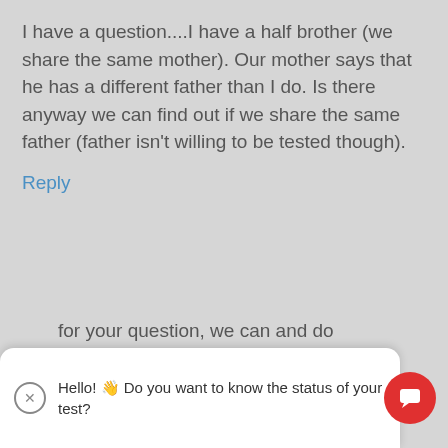I have a question....I have a half brother (we share the same mother). Our mother says that he has a different father than I do. Is there anyway we can find out if we share the same father (father isn't willing to be tested though).
Reply
Identigene says
May 24, 2014 at 11:27 am
Hello! 👋 Do you want to know the status of your test?
for your question, we can and do